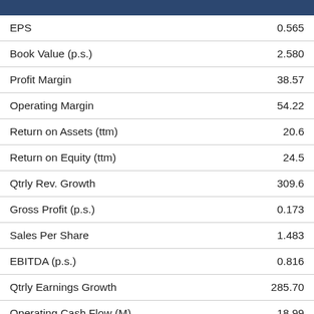| Metric | Value |
| --- | --- |
| EPS | 0.565 |
| Book Value (p.s.) | 2.580 |
| Profit Margin | 38.57 |
| Operating Margin | 54.22 |
| Return on Assets (ttm) | 20.6 |
| Return on Equity (ttm) | 24.5 |
| Qtrly Rev. Growth | 309.6 |
| Gross Profit (p.s.) | 0.173 |
| Sales Per Share | 1.483 |
| EBITDA (p.s.) | 0.816 |
| Qtrly Earnings Growth | 285.70 |
| Operating Cash Flow (M) | 18.99 |